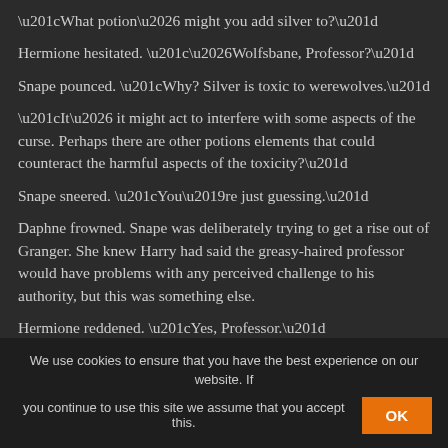“What potion… might you add silver to?”
Hermione hesitated. “…Wolfsbane, Professor?”
Snape pounced. “Why? Silver is toxic to werewolves.”
“It… it might act to interfere with some aspects of the curse. Perhaps there are other potions elements that could counteract the harmful aspects of the toxicity?”
Snape sneered. “You’re just guessing.”
Daphne frowned. Snape was deliberately trying to get a rise out of Granger. She knew Harry had said the greasy-haired professor would have problems with any perceived challenge to his authority, but this was something else.
Hermione reddened. “Yes, Professor.”
We use cookies to ensure that you have the best experience on our website. If you continue to use this site we assume that you accept this. OK